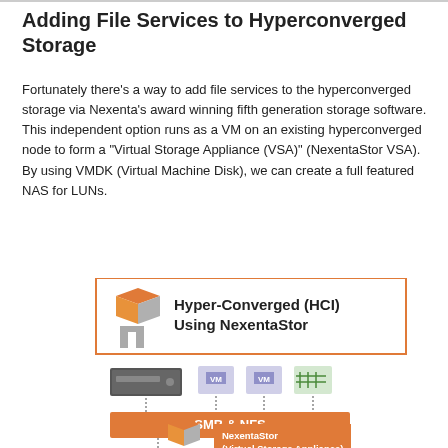Adding File Services to Hyperconverged Storage
Fortunately there's a way to add file services to the hyperconverged storage via Nexenta's award winning fifth generation storage software. This independent option runs as a VM on an existing hyperconverged node to form a "Virtual Storage Appliance (VSA)" (NexentaStor VSA). By using VMDK (Virtual Machine Disk), we can create a full featured NAS for LUNs.
[Figure (infographic): Diagram showing Hyper-Converged (HCI) Using NexentaStor. Top box with orange border contains NexentaStor logo and text 'Hyper-Converged (HCI) Using NexentaStor'. Below are VMs and a server connected by dotted lines to an orange SMB & NFS bar, which connects down via dotted lines to a NexentaStor Virtual Storage Appliance VM icon with an orange label.]